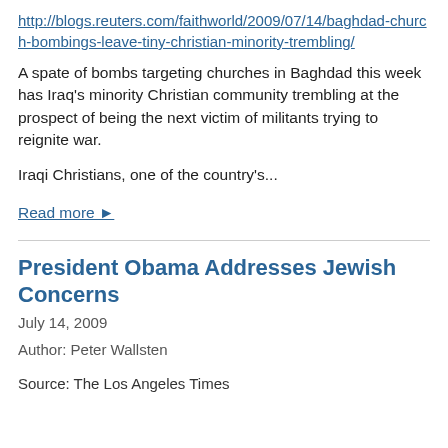http://blogs.reuters.com/faithworld/2009/07/14/baghdad-church-bombings-leave-tiny-christian-minority-trembling/
A spate of bombs targeting churches in Baghdad this week has Iraq’s minority Christian community trembling at the prospect of being the next victim of militants trying to reignite war.
Iraqi Christians, one of the country’s...
Read more ►
President Obama Addresses Jewish Concerns
July 14, 2009
Author: Peter Wallsten
Source: The Los Angeles Times